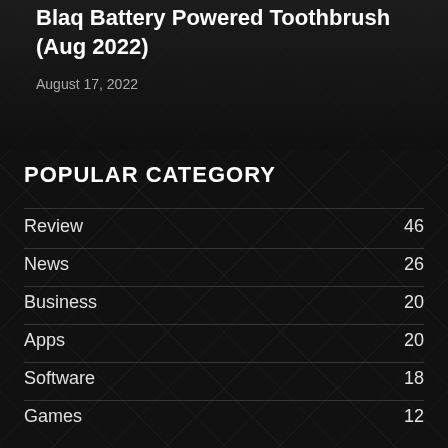Blaq Battery Powered Toothbrush (Aug 2022)
August 17, 2022
POPULAR CATEGORY
Review 46
News 26
Business 20
Apps 20
Software 18
Games 12
Roblox 9
Quotes 7